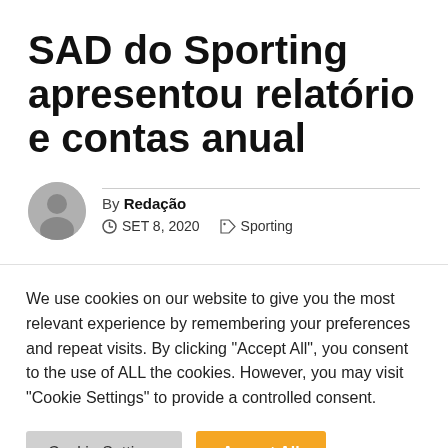SAD do Sporting apresentou relatório e contas anual
By Redação
SET 8, 2020  Sporting
We use cookies on our website to give you the most relevant experience by remembering your preferences and repeat visits. By clicking "Accept All", you consent to the use of ALL the cookies. However, you may visit "Cookie Settings" to provide a controlled consent.